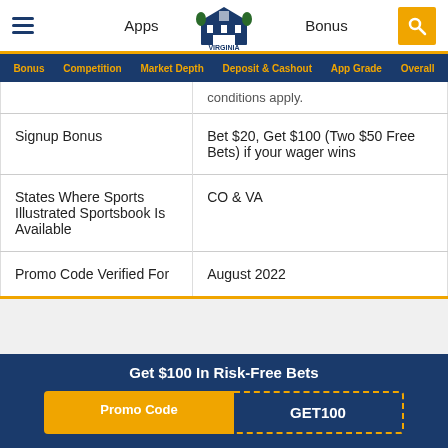Apps | Virginia Casinos | Bonus
Bonus | Competition | Market Depth | Deposit & Cashout | App Grade | Overall
|  | conditions apply. |
| Signup Bonus | Bet $20, Get $100 (Two $50 Free Bets) if your wager wins |
| States Where Sports Illustrated Sportsbook Is Available | CO & VA |
| Promo Code Verified For | August 2022 |
Get $100 In Risk-Free Bets
Promo Code  GET100